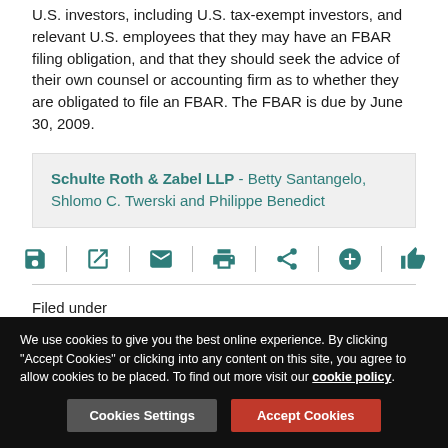U.S. investors, including U.S. tax-exempt investors, and relevant U.S. employees that they may have an FBAR filing obligation, and that they should seek the advice of their own counsel or accounting firm as to whether they are obligated to file an FBAR. The FBAR is due by June 30, 2009.
Schulte Roth & Zabel LLP - Betty Santangelo, Shlomo C. Twerski and Philippe Benedict
[Figure (infographic): Row of action icons: save, open/external, email, print, share, add, thumbs-up, separated by vertical dividers]
Filed under
USA | Banking | Tax | Schulte Roth & Zabel LLP
We use cookies to give you the best online experience. By clicking "Accept Cookies" or clicking into any content on this site, you agree to allow cookies to be placed. To find out more visit our cookie policy.